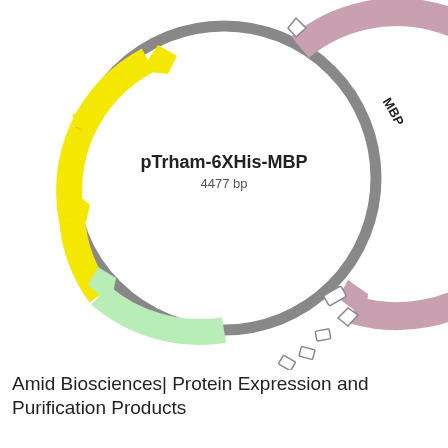[Figure (schematic): Circular plasmid map of pTrham-6XHis-MBP (4477 bp). The circular map shows a gray backbone ring with colored arc features: a large pink/mauve arc labeled 'MBP' on the right side (going clockwise), multiple yellow arrow features on the left (going counter-clockwise), a light green arc at the bottom-left (going counter-clockwise), and small white/outline arrow features at the bottom-right near center. Center text reads 'pTrham-6XHis-MBP' (bold) and '4477 bp'.]
Amid Biosciences| Protein Expression and Purification Products